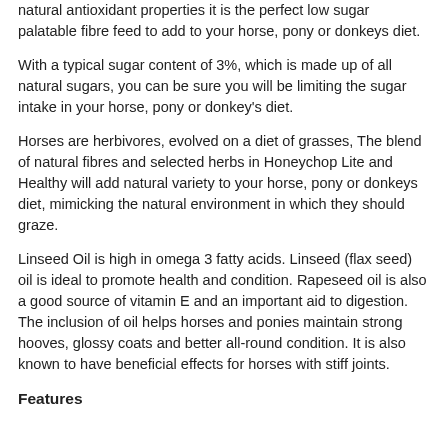natural antioxidant properties it is the perfect low sugar palatable fibre feed to add to your horse, pony or donkeys diet.
With a typical sugar content of 3%, which is made up of all natural sugars, you can be sure you will be limiting the sugar intake in your horse, pony or donkey's diet.
Horses are herbivores, evolved on a diet of grasses, The blend of natural fibres and selected herbs in Honeychop Lite and Healthy will add natural variety to your horse, pony or donkeys diet, mimicking the natural environment in which they should graze.
Linseed Oil is high in omega 3 fatty acids. Linseed (flax seed) oil is ideal to promote health and condition. Rapeseed oil is also a good source of vitamin E and an important aid to digestion. The inclusion of oil helps horses and ponies maintain strong hooves, glossy coats and better all-round condition. It is also known to have beneficial effects for horses with stiff joints.
Features